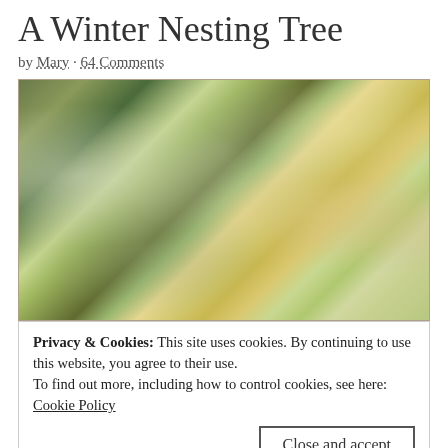A Winter Nesting Tree
by Mary · 64 Comments
[Figure (photo): Close-up photograph of a winter decorative tree with pine branches, iridescent tinsel/icicle decorations, dried hydrangea flowers in golden/cream tones, with soft bokeh background lighting]
Privacy & Cookies: This site uses cookies. By continuing to use this website, you agree to their use.
To find out more, including how to control cookies, see here:
Cookie Policy
Close and accept
[Figure (photo): Partial view of another photograph at the bottom of the page, showing warm brownish tones]